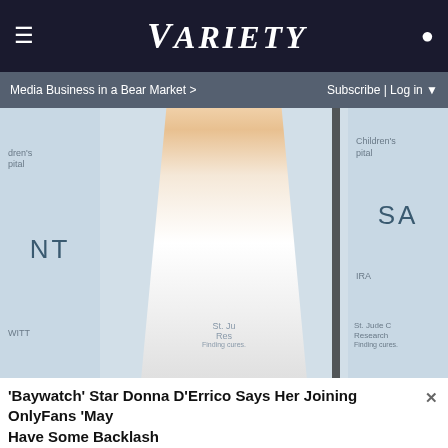≡  VARIETY  👤
Media Business in a Bear Market >   Subscribe | Log in ▼
[Figure (photo): A blonde woman in a white low-cut outfit posing at an event with 'SAINT' and 'Children's Hospital' backdrop signage visible]
'Baywatch' Star Donna D'Errico Says Her Joining OnlyFans 'May  X
Have Some Backlash
[Figure (infographic): Advertisement: HC logo, Ashburn OPEN 8AM-8PM, 44110 Ashburn Shopping Plaza 190, . with navigation arrow icon]